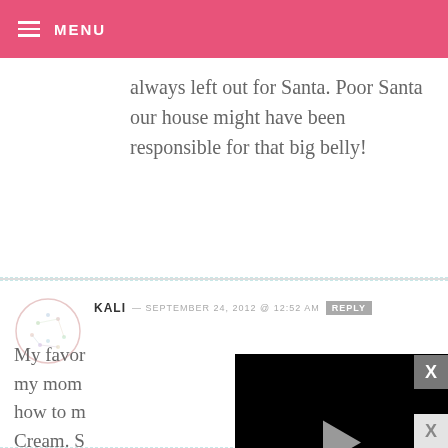MENU
always left out for Santa. Poor Santa our house might have been responsible for that big belly!
KALI — SEPTEMBER 24, 2012 @ 12:52 AM REPLY
My favor my mom how to m Cream. S great to see her wisdom in the kitchen!! I hope I can be as good of a
[Figure (screenshot): Video player overlay showing black background with play button, progress bar, and controls showing 13:52 timestamp]
X
X